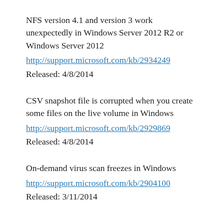NFS version 4.1 and version 3 work unexpectedly in Windows Server 2012 R2 or Windows Server 2012
http://support.microsoft.com/kb/2934249
Released: 4/8/2014
CSV snapshot file is corrupted when you create some files on the live volume in Windows
http://support.microsoft.com/kb/2929869
Released: 4/8/2014
On-demand virus scan freezes in Windows
http://support.microsoft.com/kb/2904100
Released: 3/11/2014